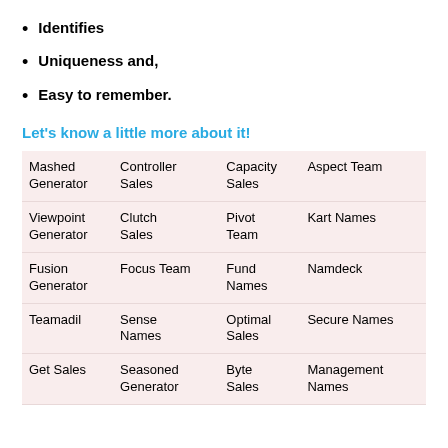Identifies
Uniqueness and,
Easy to remember.
Let's know a little more about it!
| Mashed Generator | Controller Sales | Capacity Sales | Aspect Team |
| Viewpoint Generator | Clutch Sales | Pivot Team | Kart Names |
| Fusion Generator | Focus Team | Fund Names | Namdeck |
| Teamadil | Sense Names | Optimal Sales | Secure Names |
| Get Sales | Seasoned Generator | Byte Sales | Management Names |